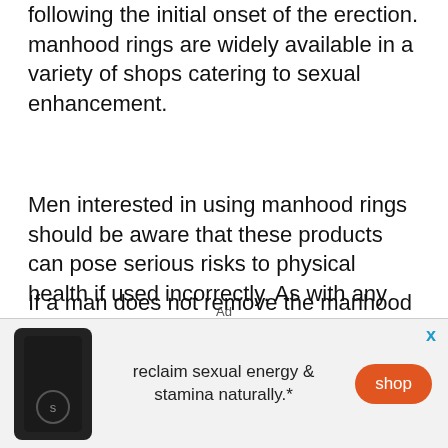following the initial onset of the erection. manhood rings are widely available in a variety of shops catering to sexual enhancement.
Men interested in using manhood rings should be aware that these products can pose serious risks to physical health if used incorrectly. As with any erection, the manhood is designed to drain blood out of the spongy tissue following the resolution of sexual intercourse.
If a man does not remove the manhood ring at the end of sex, manhood scarring or priapism can easily occur. In the most severe cases, men can contract
Ad
[Figure (infographic): Advertisement banner with a dark supplement bottle on the left, text 'reclaim sexual energy & stamina naturally.*' in the center, an orange 'shop' button on the right, and an 'x' close button in the top right corner.]